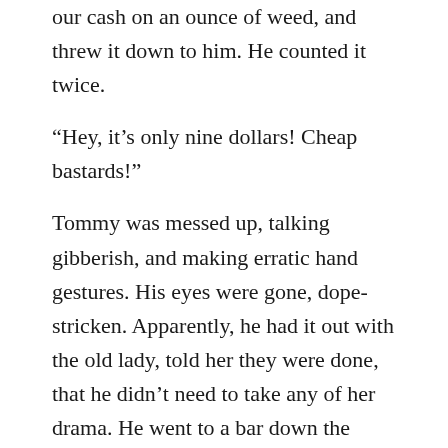our cash on an ounce of weed, and threw it down to him. He counted it twice.
“Hey, it’s only nine dollars! Cheap bastards!”
Tommy was messed up, talking gibberish, and making erratic hand gestures. His eyes were gone, dope-stricken. Apparently, he had it out with the old lady, told her they were done, that he didn’t need to take any of her drama. He went to a bar down the street, got drunk, and called a cab. We got him high and cracked into a bottle of tequila. He said he couldn’t stay because he needed to go a buddy’s house so they could work out a contract because they